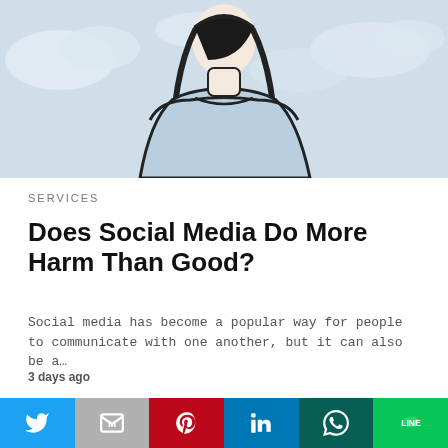[Figure (illustration): Illustration of a woman seen from behind, wearing a light blue top, with long dark hair, against a pale blue cloudy sky background.]
SERVICES
Does Social Media Do More Harm Than Good?
Social media has become a popular way for people to communicate with one another, but it can also be a…
3 days ago